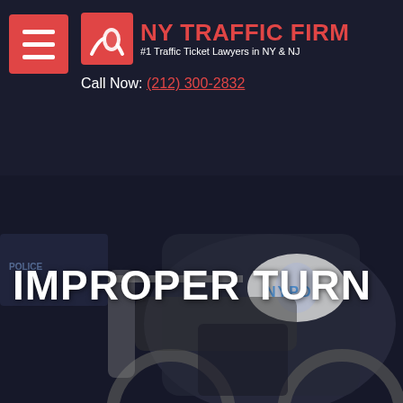[Figure (screenshot): NY Traffic Firm website header with hamburger menu, red logo icon, firm name 'NY TRAFFIC FIRM #1 Traffic Ticket Lawyers in NY & NJ', and phone number 'Call Now: (212) 300-2832'. Background shows darkened NYPD motorcycle photo with 'IMPROPER TURN' title text overlaid.]
NY TRAFFIC FIRM
#1 Traffic Ticket Lawyers in NY & NJ
Call Now: (212) 300-2832
IMPROPER TURN
HOME » TRAFFIC LAW » TRAFFIC TICKETS » IMPROPER TURN
ILLEGAL LEFT, RIGHT, AND U TURNS VIOLATIONS EXPLAINED BY SIMON KARZAN, ESQ.